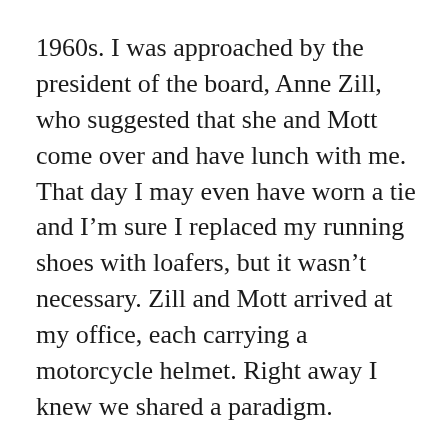1960s. I was approached by the president of the board, Anne Zill, who suggested that she and Mott come over and have lunch with me. That day I may even have worn a tie and I'm sure I replaced my running shoes with loafers, but it wasn't necessary. Zill and Mott arrived at my office, each carrying a motorcycle helmet. Right away I knew we shared a paradigm.
The fund's board meetings average somewhere between four and six hours in length, shared by some of the most competently eccentric folk I have met in this fair city. Journalism grant committee meetings take almost as long over lunch at La Tomate, as one might imagine of a confabulation that includes Christopher Hitchens, myself and Hamilton Fish Number